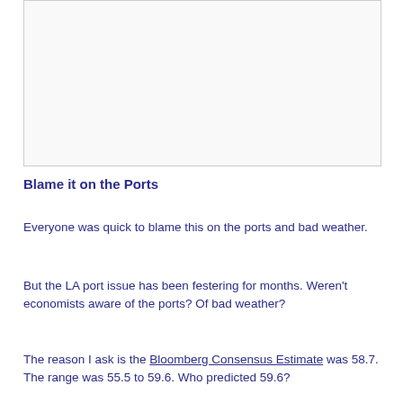[Figure (other): White/light gray placeholder image box with border]
Blame it on the Ports
Everyone was quick to blame this on the ports and bad weather.
But the LA port issue has been festering for months. Weren't economists aware of the ports? Of bad weather?
The reason I ask is the Bloomberg Consensus Estimate was 58.7. The range was 55.5 to 59.6. Who predicted 59.6?